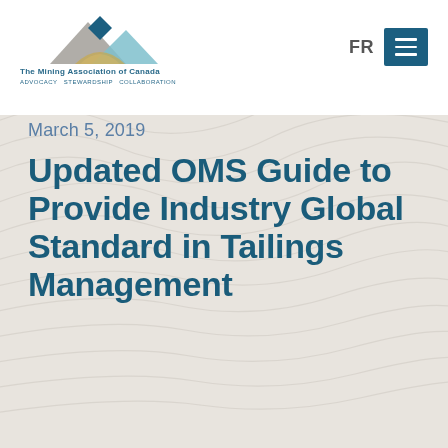[Figure (logo): The Mining Association of Canada logo with mountain/road graphic and tagline ADVOCACY STEWARDSHIP COLLABORATION]
FR [navigation menu icon]
March 5, 2019
Updated OMS Guide to Provide Industry Global Standard in Tailings Management